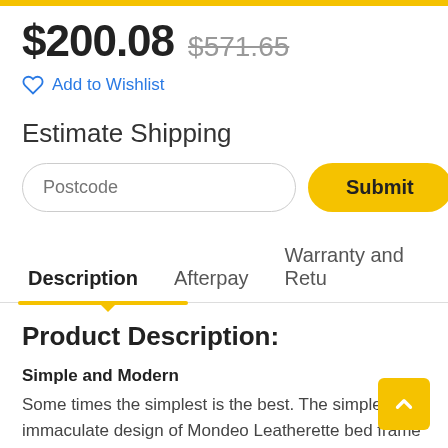$200.08  $571.65
Add to Wishlist
Estimate Shipping
Postcode  Submit
Description  Afterpay  Warranty and Retu
Product Description:
Simple and Modern
Some times the simplest is the best. The simple and immaculate design of Mondeo Leatherette bed frame will soothes your eyes.